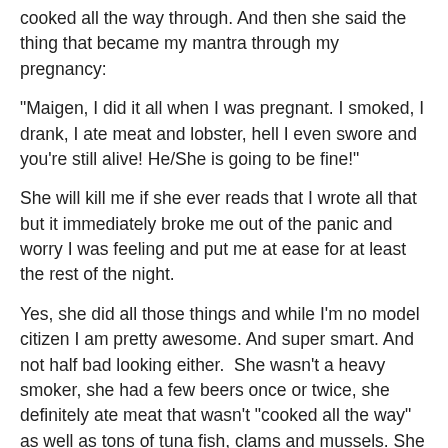cooked all the way through. And then she said the thing that became my mantra through my pregnancy:
"Maigen, I did it all when I was pregnant. I smoked, I drank, I ate meat and lobster, hell I even swore and you're still alive! He/She is going to be fine!"
She will kill me if she ever reads that I wrote all that but it immediately broke me out of the panic and worry I was feeling and put me at ease for at least the rest of the night.
Yes, she did all those things and while I'm no model citizen I am pretty awesome. And super smart. And not half bad looking either.  She wasn't a heavy smoker, she had a few beers once or twice, she definitely ate meat that wasn't "cooked all the way" as well as tons of tuna fish, clams and mussels. She didn't have ultrasounds or take prenatal vitamins for months before conceiving and every day after. It was 1984, she was 22 and the first of her friends to have a baby. Her life and pregnancy experiences were so vastly different from what mine were and I think she was the lucky one. She never once thought of the things I did and what do